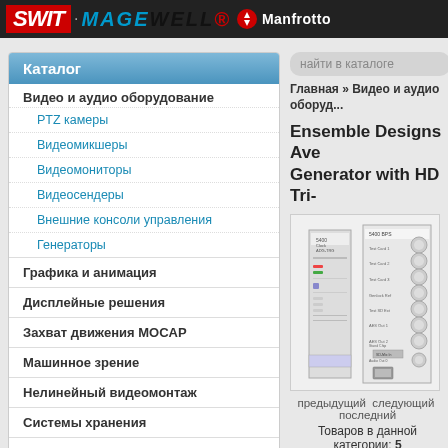SWIT · MAGEWELL · Manfrotto
Каталог
Видео и аудио оборудование
PTZ камеры
Видеомикшеры
Видеомониторы
Видеосендеры
Внешние консоли управления
Генераторы
Графика и анимация
Дисплейные решения
Захват движения MOCAP
Машинное зрение
Нелинейный видеомонтаж
Системы хранения
Стриминг и IPTV
найти в каталоге
Главная » Видео и аудио оборуд...
Ensemble Designs Ave Generator with HD Tri-
[Figure (photo): Product image of Ensemble Designs AVE Generator with HD Tri- device, showing front and back panels of broadcast equipment]
предыдущий  следующий  последний
Товаров в данной категории: 5